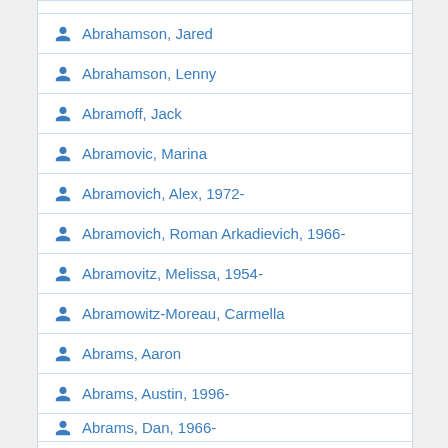Abrahamson, Jared
Abrahamson, Lenny
Abramoff, Jack
Abramovic, Marina
Abramovich, Alex, 1972-
Abramovich, Roman Arkadievich, 1966-
Abramovitz, Melissa, 1954-
Abramowitz-Moreau, Carmella
Abrams, Aaron
Abrams, Austin, 1996-
Abrams, Dan, 1966-